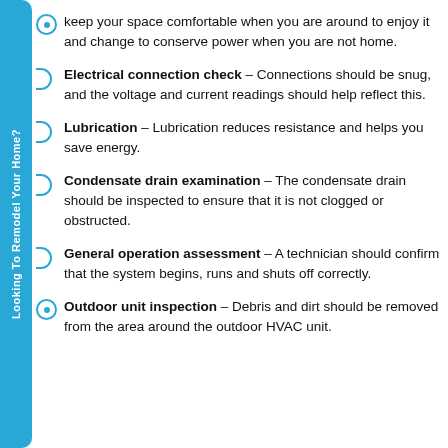keep your space comfortable when you are around to enjoy it and change to conserve power when you are not home.
Electrical connection check – Connections should be snug, and the voltage and current readings should help reflect this.
Lubrication – Lubrication reduces resistance and helps you save energy.
Condensate drain examination – The condensate drain should be inspected to ensure that it is not clogged or obstructed.
General operation assessment – A technician should confirm that the system begins, runs and shuts off correctly.
Outdoor unit inspection – Debris and dirt should be removed from the area around the outdoor HVAC unit.